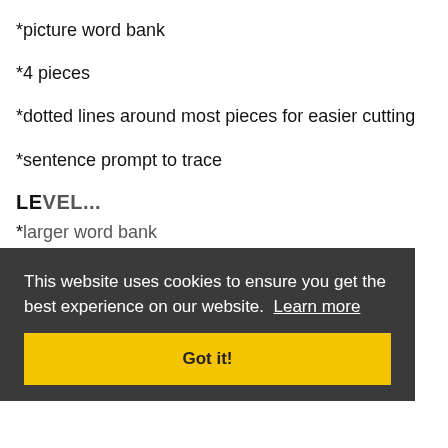*picture word bank
*4 pieces
*dotted lines around most pieces for easier cutting
*sentence prompt to trace
LEVEL...
*larger word bank
*more pieces
*extra writing paper for 2-sided copying- word
This website uses cookies to ensure you get the best experience on our website. Learn more
Got it!